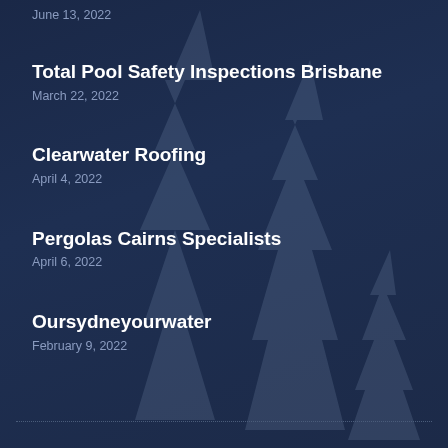June 13, 2022
Total Pool Safety Inspections Brisbane
March 22, 2022
Clearwater Roofing
April 4, 2022
Pergolas Cairns Specialists
April 6, 2022
Oursydneyourwater
February 9, 2022